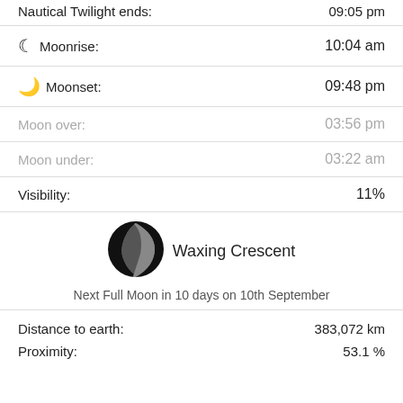Nautical Twilight ends: 09:05 pm
Moonrise: 10:04 am
Moonset: 09:48 pm
Moon over: 03:56 pm
Moon under: 03:22 am
Visibility: 11%
[Figure (photo): Waxing Crescent moon phase image — mostly dark circle with crescent lit on right side]
Waxing Crescent
Next Full Moon in 10 days on 10th September
Distance to earth: 383,072 km
Proximity: 53.1 %